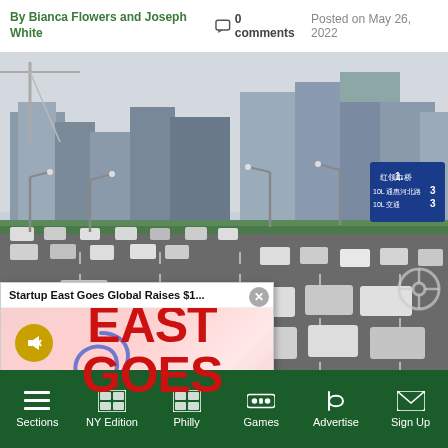By Bianca Flowers and Joseph White   0 comments   Posted on May 26, 2022
[Figure (photo): Aerial view of a busy multi-lane highway in a Chinese city with skyscrapers in the background during morning rush hour]
[Figure (screenshot): Popup overlay showing 'Startup East Goes Global Raises $1...' with a logo reading EAST GOES GLOBAL in large red text on a pink/red gradient background, with a mute icon and close button]
ring the morning rush
Sections   NY Edition   Philly   Games   Advertise   Sign Up